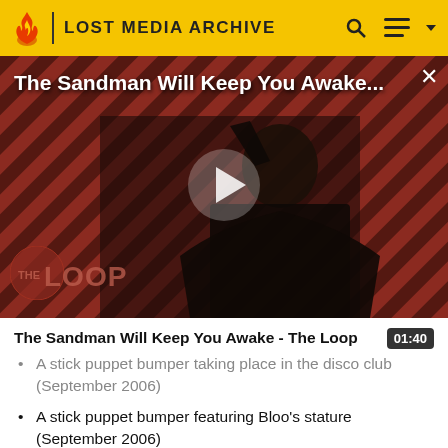LOST MEDIA ARCHIVE
[Figure (screenshot): Video thumbnail for 'The Sandman Will Keep You Awake - The Loop' showing a figure in black against a diagonal striped red/dark background, with THE LOOP logo in lower left. A white play button triangle is centered. Title overlaid in white at top.]
The Sandman Will Keep You Awake - The Loop  01:40
A stick puppet bumper taking place in the disco club (September 2006)
A stick puppet bumper featuring Bloo's stature (September 2006)